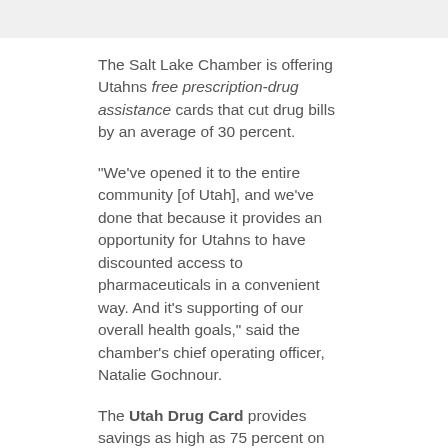The Salt Lake Chamber is offering Utahns free prescription-drug assistance cards that cut drug bills by an average of 30 percent.
"We've opened it to the entire community [of Utah], and we've done that because it provides an opportunity for Utahns to have discounted access to pharmaceuticals in a convenient way. And it's supporting of our overall health goals," said the chamber's chief operating officer, Natalie Gochnour.
The Utah Drug Card provides savings as high as 75 percent on generics and up to 50 percent on name-brand medicines, said Francesco Ciccone, executive vice president of United Networks of America, which administers the program.
The program has no restrictions on membership,